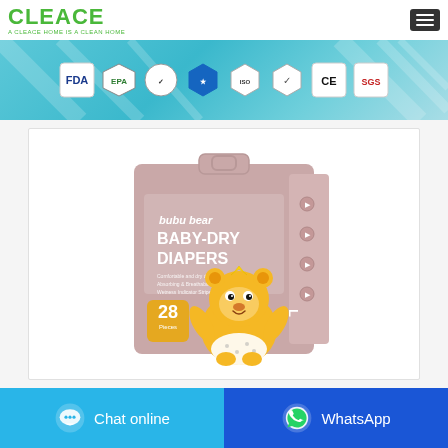[Figure (logo): CLEACE logo in green bold text with tagline 'A CLEACE HOME IS A CLEAN HOME']
[Figure (infographic): Certification banner with teal/cyan background showing certification icons: FDA, EPA, and other regulatory badges (CE, SGS, etc.)]
[Figure (photo): Bubu Bear Baby-Dry Diapers product package - pink/mauve colored packaging with cartoon bear character, showing '28 pieces' size L]
[Figure (infographic): Bottom action bar with two buttons: 'Chat online' on cyan/blue background with chat icon, and 'WhatsApp' on dark blue background with WhatsApp icon]